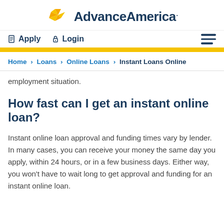[Figure (logo): Advance America logo with golden star/wing icon and dark navy text]
Apply   Login   [hamburger menu]
Home > Loans > Online Loans > Instant Loans Online
employment situation.
How fast can I get an instant online loan?
Instant online loan approval and funding times vary by lender. In many cases, you can receive your money the same day you apply, within 24 hours, or in a few business days. Either way, you won’t have to wait long to get approval and funding for an instant online loan.